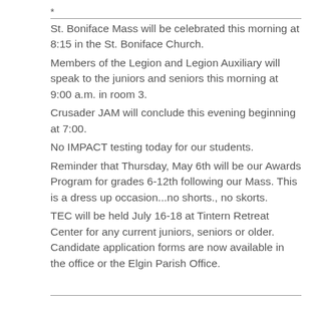St. Boniface Mass will be celebrated this morning at 8:15 in the St. Boniface Church.
Members of the Legion and Legion Auxiliary will speak to the juniors and seniors this morning at 9:00 a.m. in room 3.
Crusader JAM will conclude this evening beginning at 7:00.
No IMPACT testing today for our students.
Reminder that Thursday, May 6th will be our Awards Program for grades 6-12th following our Mass. This is a dress up occasion...no shorts., no skorts.
TEC will be held July 16-18 at Tintern Retreat Center for any current juniors, seniors or older. Candidate application forms are now available in the office or the Elgin Parish Office.